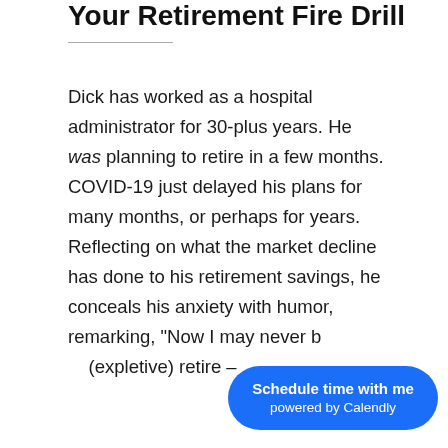Your Retirement Fire Drill
Dick has worked as a hospital administrator for 30-plus years. He was planning to retire in a few months. COVID-19 just delayed his plans for many months, or perhaps for years. Reflecting on what the market decline has done to his retirement savings, he conceals his anxiety with humor, remarking, “Now I may never [expletive] retire –
[Figure (other): Blue Calendly scheduling button overlay reading 'Schedule time with me powered by Calendly']